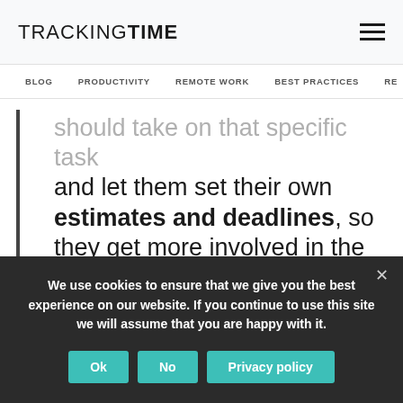TRACKINGTIME
BLOG  PRODUCTIVITY  REMOTE WORK  BEST PRACTICES  RE
should take on that specific task and let them set their own estimates and deadlines, so they get more involved in the process.
We use cookies to ensure that we give you the best experience on our website. If you continue to use this site we will assume that you are happy with it.